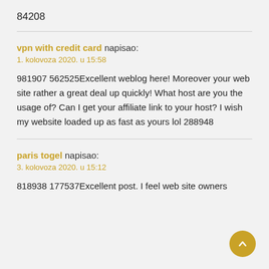84208
vpn with credit card napisao:
1. kolovoza 2020. u 15:58
981907 562525Excellent weblog here! Moreover your web site rather a great deal up quickly! What host are you the usage of? Can I get your affiliate link to your host? I wish my website loaded up as fast as yours lol 288948
paris togel napisao:
3. kolovoza 2020. u 15:12
818938 177537Excellent post. I feel web site owners